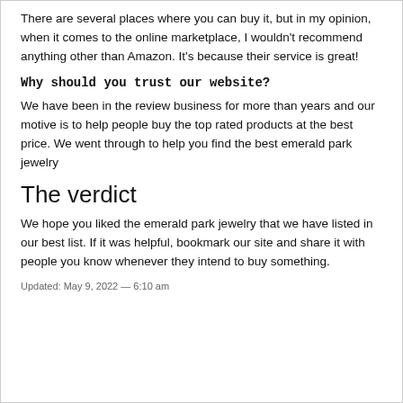There are several places where you can buy it, but in my opinion, when it comes to the online marketplace, I wouldn't recommend anything other than Amazon. It's because their service is great!
Why should you trust our website?
We have been in the review business for more than years and our motive is to help people buy the top rated products at the best price. We went through to help you find the best emerald park jewelry
The verdict
We hope you liked the emerald park jewelry that we have listed in our best list. If it was helpful, bookmark our site and share it with people you know whenever they intend to buy something.
Updated: May 9, 2022 — 6:10 am